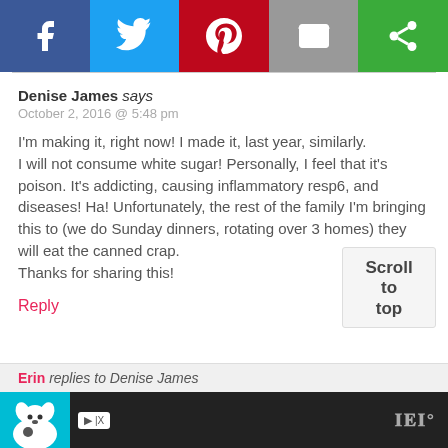[Figure (screenshot): Social sharing bar with Facebook (blue), Twitter (light blue), Pinterest (red), Email (gray), and a green share icon button]
Denise James says
October 2, 2016 @ 5:48 pm
I'm making it, right now! I made it, last year, similarly.
I will not consume white sugar! Personally, I feel that it's poison. It's addicting, causing inflammatory resp6, and diseases! Ha! Unfortunately, the rest of the family I'm bringing this to (we do Sunday dinners, rotating over 3 homes) they will eat the canned crap.
Thanks for sharing this!
Reply
Erin replies to Denise James
[Figure (screenshot): Advertisement bar at bottom with a dog image and playback controls]